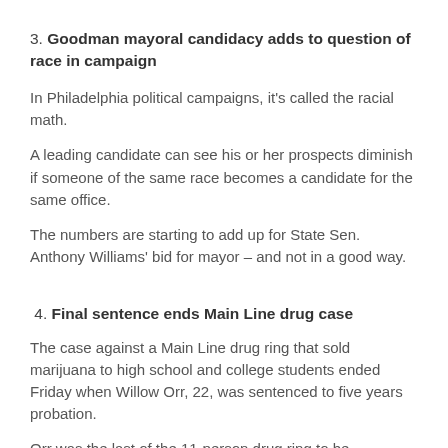3. Goodman mayoral candidacy adds to question of race in campaign
In Philadelphia political campaigns, it’s called the racial math.
A leading candidate can see his or her prospects diminish if someone of the same race becomes a candidate for the same office.
The numbers are starting to add up for State Sen. Anthony Williams’ bid for mayor – and not in a good way.
4. Final sentence ends Main Line drug case
The case against a Main Line drug ring that sold marijuana to high school and college students ended Friday when Willow Orr, 22, was sentenced to five years probation.
Orr was the last of the 11-person drug ring to be sentenced. The dealers spanned in age from two